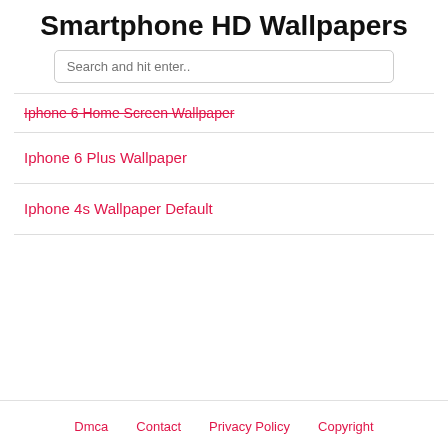Smartphone HD Wallpapers
Search and hit enter..
Iphone 6 Home Screen Wallpaper
Iphone 6 Plus Wallpaper
Iphone 4s Wallpaper Default
Dmca   Contact   Privacy Policy   Copyright